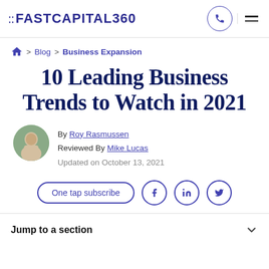FASTCAPITAL360
Blog > Business Expansion
10 Leading Business Trends to Watch in 2021
By Roy Rasmussen
Reviewed By Mike Lucas
Updated on October 13, 2021
One tap subscribe
Jump to a section